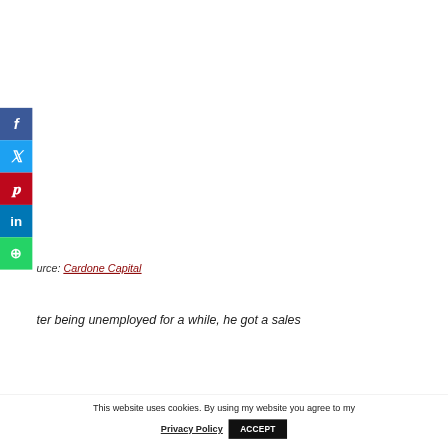[Figure (other): Social media share buttons sidebar: Facebook (blue), Twitter (light blue), Pinterest (red), LinkedIn (blue), WhatsApp (green), each with white icon]
Source: Cardone Capital
After being unemployed for a while, he got a sales
This website uses cookies. By using my website you agree to my Privacy Policy ACCEPT